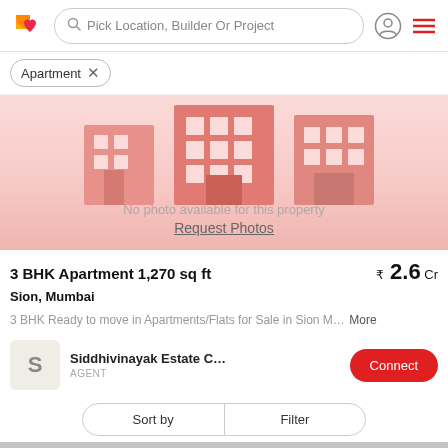Pick Location, Builder Or Project
Apartment ×
[Figure (illustration): No photo available placeholder with building illustration in pink/red tones. Text reads: No photo available for this property. Request Photos (underlined).]
3 BHK Apartment 1,270 sq ft
₹2.6 Cr
Sion, Mumbai
3 BHK Ready to move in Apartments/Flats for Sale in Sion M… More
Siddhivinayak Estate C…
AGENT
Sort by
Filter